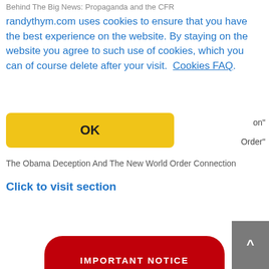Behind The Big News: Propaganda and the CFR
randythym.com uses cookies to ensure that you have the best experience on the website. By staying on the website you agree to such use of cookies, which you can of course delete after your visit.  Cookies FAQ
OK
on"
Order"
The Obama Deception And The New World Order Connection
Click to visit section
[Figure (screenshot): Partially visible red rounded button at bottom of page, likely an important notice button]